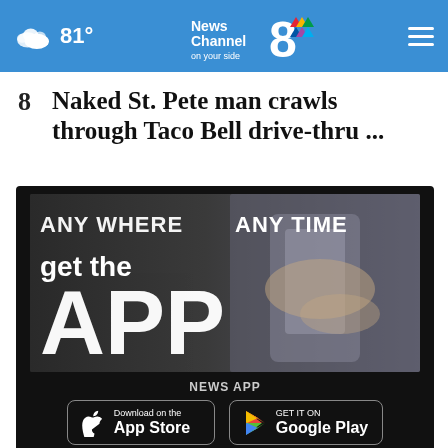News Channel 8 on your side — 81°
8  Naked St. Pete man crawls through Taco Bell drive-thru ...
[Figure (infographic): App advertisement banner showing hands holding a smartphone with text 'ANY WHERE ANY TIME get the APP'. Below are App Store and Google Play download buttons, with label 'NEWS APP'.]